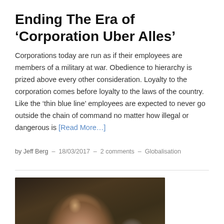Ending The Era of ‘Corporation Uber Alles’
Corporations today are run as if their employees are members of a military at war. Obedience to hierarchy is prized above every other consideration. Loyalty to the corporation comes before loyalty to the laws of the country. Like the ‘thin blue line’ employees are expected to never go outside the chain of command no matter how illegal or dangerous is [Read More…]
by Jeff Berg – 18/03/2017 – 2 comments – Globalisation
[Figure (photo): A man with grey hair smiling, photographed in a dark indoor setting with other people visible in the background, dark warm-toned background.]